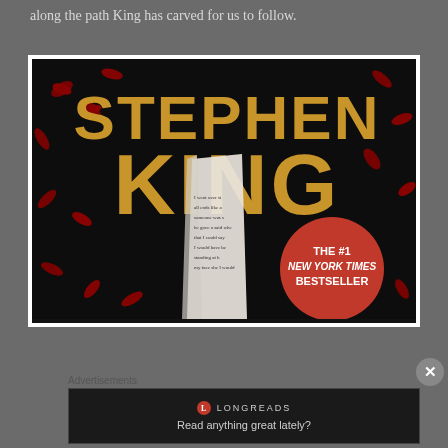along the path King has carved for us to follow.
[Figure (photo): Book cover of a Stephen King novel showing large gold block letters 'STEPHEN KING' on a dark background with red floral pattern, a torn paper strip in the center, and a red circle badge reading 'THE #1 NEW YORK TIMES BESTSELLER']
Advertisements
[Figure (logo): Longreads advertisement banner with logo and tagline 'Read anything great lately?']